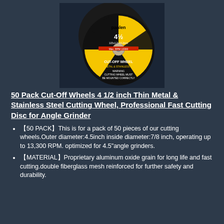[Figure (photo): Stack of cut-off wheels with a single Panlen branded 4-1/2 inch cut-off wheel disc shown in foreground, yellow and black design with product specs printed on it]
50 Pack Cut-Off Wheels 4 1/2 inch Thin Metal & Stainless Steel Cutting Wheel, Professional Fast Cutting Disc for Angle Grinder
【50 PACK】This is for a pack of 50 pieces of our cutting wheels.Outer diameter:4.5inch inside diameter:7/8 inch, operating up to 13,300 RPM. optimized for 4.5"angle grinders.
【MATERIAL】Proprietary aluminum oxide grain for long life and fast cutting.double fiberglass mesh reinforced for further safety and durability.